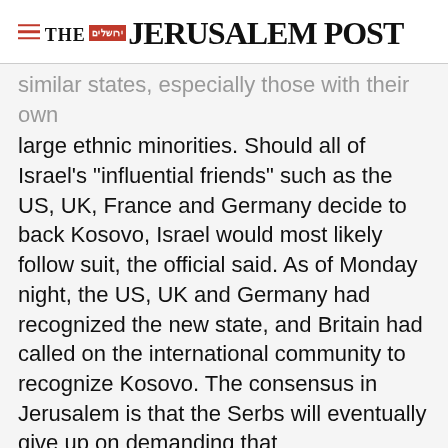THE JERUSALEM POST
similar states, especially those with their own large ethnic minorities. Should all of Israel's "influential friends" such as the US, UK, France and Germany decide to back Kosovo, Israel would most likely follow suit, the official said. As of Monday night, the US, UK and Germany had recognized the new state, and Britain had called on the international community to recognize Kosovo. The consensus in Jerusalem is that the Serbs will eventually give up on demanding that
Advertisement